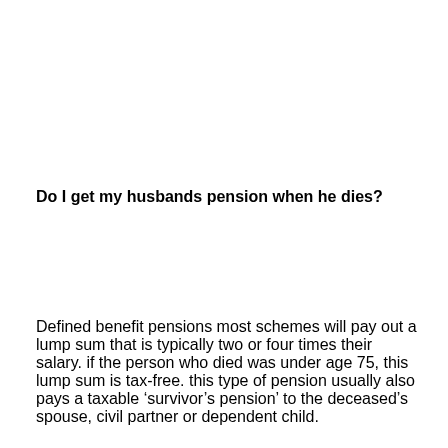Do I get my husbands pension when he dies?
Defined benefit pensions most schemes will pay out a lump sum that is typically two or four times their salary. if the person who died was under age 75, this lump sum is tax-free. this type of pension usually also pays a taxable ‘survivor’s pension’ to the deceased’s spouse, civil partner or dependent child.